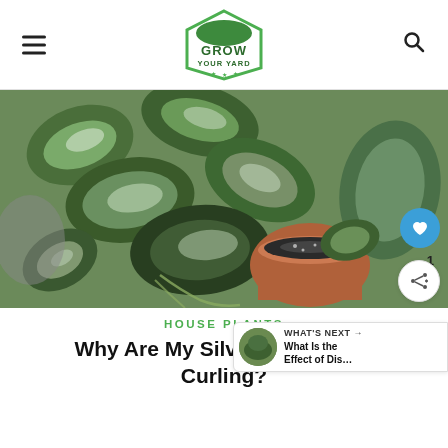Grow Your Yard
[Figure (photo): Overhead view of silver pothos plants with green and silver-white patterned leaves in terracotta pots]
HOUSE PLANTS
Why Are My Silver Pothos Leaves Curling?